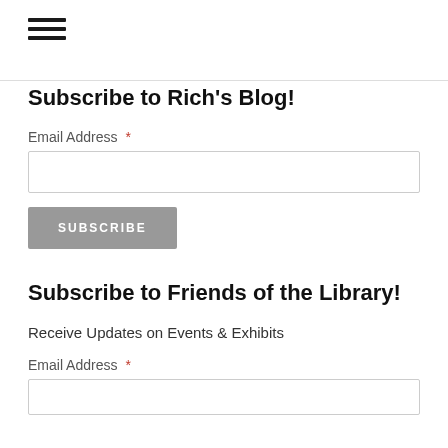[Figure (other): Hamburger menu icon with three horizontal lines]
Subscribe to Rich's Blog!
Email Address *
SUBSCRIBE
Subscribe to Friends of the Library!
Receive Updates on Events & Exhibits
Email Address *